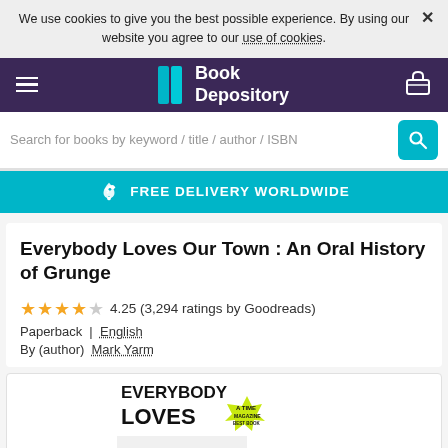We use cookies to give you the best possible experience. By using our website you agree to our use of cookies.
[Figure (screenshot): Book Depository website navigation bar with hamburger menu, teal book logo, and basket icon on purple background]
Search for books by keyword / title / author / ISBN
FREE DELIVERY WORLDWIDE
Everybody Loves Our Town : An Oral History of Grunge
4.25 (3,294 ratings by Goodreads)
Paperback | English
By (author) Mark Yarm
[Figure (photo): Book cover of Everybody Loves Our Town showing the title in large bold black text with EVERYBODY LOVES visible, and a TIME magazine badge]